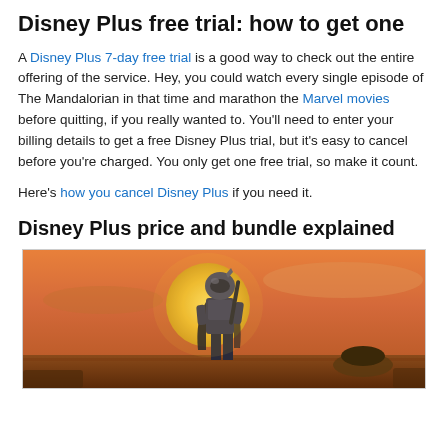Disney Plus free trial: how to get one
A Disney Plus 7-day free trial is a good way to check out the entire offering of the service. Hey, you could watch every single episode of The Mandalorian in that time and marathon the Marvel movies before quitting, if you really wanted to. You'll need to enter your billing details to get a free Disney Plus trial, but it's easy to cancel before you're charged. You only get one free trial, so make it count.
Here's how you cancel Disney Plus if you need it.
Disney Plus price and bundle explained
[Figure (photo): Promotional image of The Mandalorian character in full armor standing against a warm sunset sky with a large sun/moon in the background]